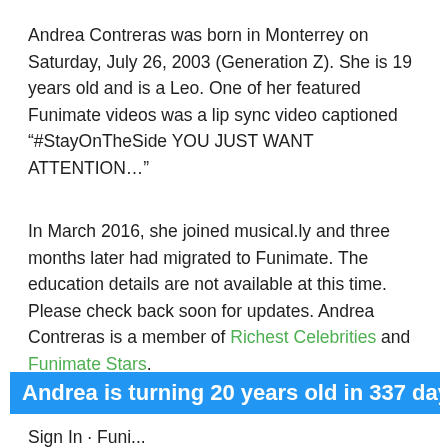Andrea Contreras was born in Monterrey on Saturday, July 26, 2003 (Generation Z). She is 19 years old and is a Leo. One of her featured Funimate videos was a lip sync video captioned "#StayOnTheSide YOU JUST WANT ATTENTION…"
In March 2016, she joined musical.ly and three months later had migrated to Funimate. The education details are not available at this time. Please check back soon for updates. Andrea Contreras is a member of Richest Celebrities and Funimate Stars.
Andrea is turning 20 years old in 337 days
Sign In · Funi...